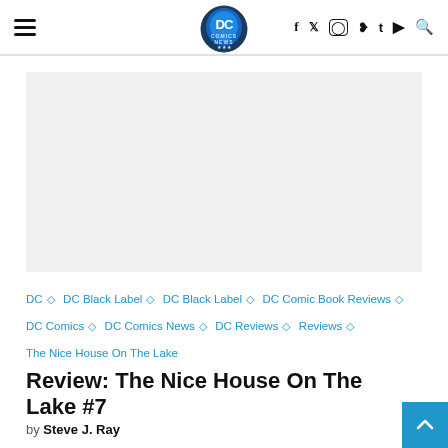DC Comics News — navigation header with hamburger menu, DC Comics News logo, social icons (f, twitter, instagram, pinterest, t, youtube, search)
[Figure (other): Advertisement placeholder — light gray rectangle]
DC ◇ DC Black Label ◇ DC Black Label ◇ DC Comic Book Reviews ◇ DC Comics ◇ DC Comics News ◇ DC Reviews ◇ Reviews ◇ The Nice House On The Lake
Review: The Nice House On The Lake #7
by Steve J. Ray